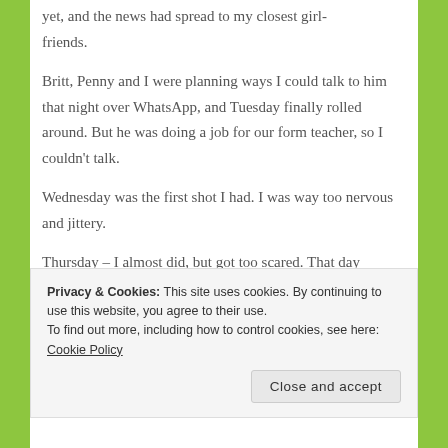yet, and the news had spread to my closest girlfriends.
Britt, Penny and I were planning ways I could talk to him that night over WhatsApp, and Tuesday finally rolled around. But he was doing a job for our form teacher, so I couldn't talk.
Wednesday was the first shot I had. I was way too nervous and jittery.
Thursday – I almost did, but got too scared. That day
Privacy & Cookies: This site uses cookies. By continuing to use this website, you agree to their use.
To find out more, including how to control cookies, see here: Cookie Policy
Close and accept